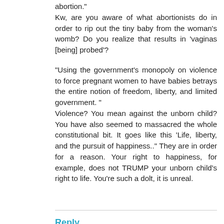abortion."
Kw, are you aware of what abortionists do in order to rip out the tiny baby from the woman's womb? Do you realize that results in 'vaginas [being] probed'?

"Using the government's monopoly on violence to force pregnant women to have babies betrays the entire notion of freedom, liberty, and limited government. "
Violence? You mean against the unborn child? You have also seemed to massacred the whole constitutional bit. It goes like this 'Life, liberty, and the pursuit of happiness.." They are in order for a reason. Your right to happiness, for example, does not TRUMP your unborn child's right to life. You're such a dolt, it is unreal.
Reply